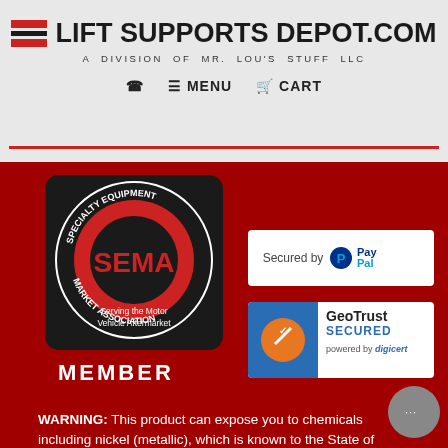[Figure (logo): Lift Supports Depot logo with red horizontal bars and bold text reading LIFTSUPPORTSDEPOT.COM]
A DIVISION OF MR. LOU'S STUFF LLC
☎ ≡ MENU 🛒 CART
[Figure (logo): SEMA Specialty Equipment Market Association Member badge - black circular badge with red SEMA logo, text reading Serving the Motor Vehicle Aftermarket, and MEMBER text below]
[Figure (logo): Secured by PayPal badge - white rectangle with PayPal logo]
[Figure (logo): GeoTrust Secured powered by digicert badge]
WARNING: This product can expose you to chemicals including nickel (metallic), which is known to the State of California to cause cancer. For more information go to www.P65Warnings.ca.gov